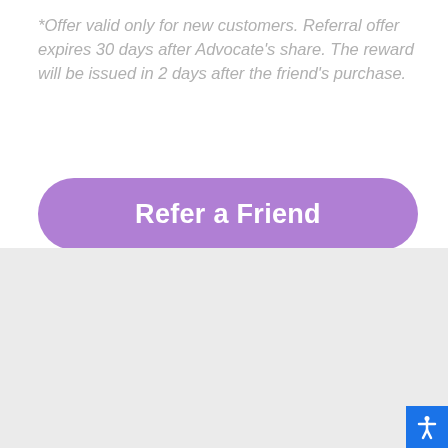*Offer valid only for new customers. Referral offer expires 30 days after Advocate's share. The reward will be issued in 2 days after the friend's purchase.
[Figure (other): Purple rounded rectangle button labeled 'Refer a Friend' in white bold text]